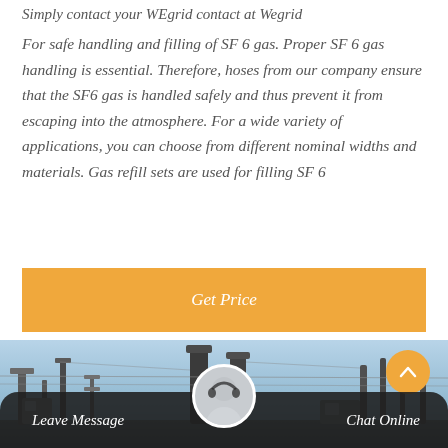Simply contact your WEgrid contact at Wegrid
For safe handling and filling of SF 6 gas. Proper SF 6 gas handling is essential. Therefore, hoses from our company ensure that the SF6 gas is handled safely and thus prevent it from escaping into the atmosphere. For a wide variety of applications, you can choose from different nominal widths and materials. Gas refill sets are used for filling SF 6
Get Price
[Figure (photo): Industrial electrical substation or power plant with tall dark chimney stacks and transmission line structures against a light blue sky]
Leave Message
Chat Online